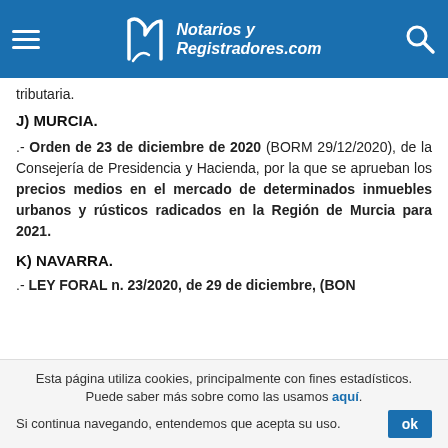Notarios y Registradores.com
tributaria.
J) MURCIA.
.- Orden de 23 de diciembre de 2020 (BORM 29/12/2020), de la Consejería de Presidencia y Hacienda, por la que se aprueban los precios medios en el mercado de determinados inmuebles urbanos y rústicos radicados en la Región de Murcia para 2021.
K) NAVARRA.
.- LEY FORAL n. 23/2020, de 29 de diciembre, (BON...
Esta página utiliza cookies, principalmente con fines estadísticos. Puede saber más sobre como las usamos aquí. Si continua navegando, entendemos que acepta su uso.